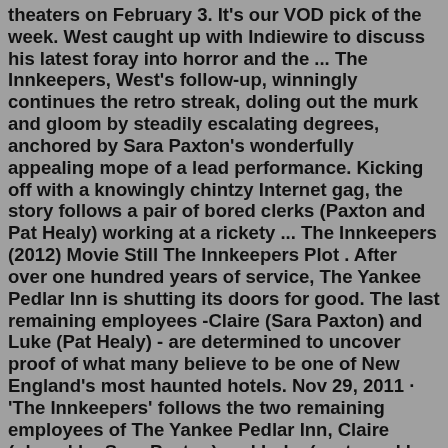theaters on February 3. It's our VOD pick of the week. West caught up with Indiewire to discuss his latest foray into horror and the ... The Innkeepers, West's follow-up, winningly continues the retro streak, doling out the murk and gloom by steadily escalating degrees, anchored by Sara Paxton's wonderfully appealing mope of a lead performance. Kicking off with a knowingly chintzy Internet gag, the story follows a pair of bored clerks (Paxton and Pat Healy) working at a rickety ... The Innkeepers (2012) Movie Still The Innkeepers Plot . After over one hundred years of service, The Yankee Pedlar Inn is shutting its doors for good. The last remaining employees -Claire (Sara Paxton) and Luke (Pat Healy) - are determined to uncover proof of what many believe to be one of New England's most haunted hotels. Nov 29, 2011 · 'The Innkeepers' follows the two remaining employees of The Yankee Pedlar Inn, Claire (played by Sara Paxton) and Luke (portrayed by Pat Healy), as they prepare to close the hotel, which has ... Jan 09, 2012 · Movie review for